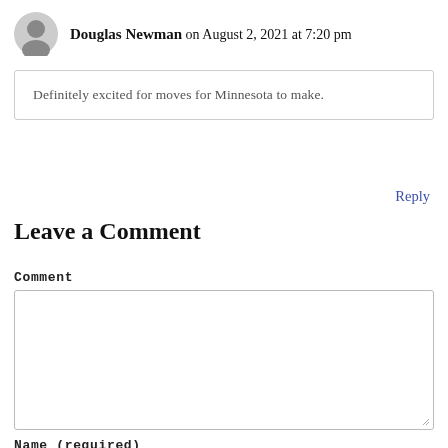Douglas Newman on August 2, 2021 at 7:20 pm
Definitely excited for moves for Minnesota to make.
Reply
Leave a Comment
Comment
Name (required)